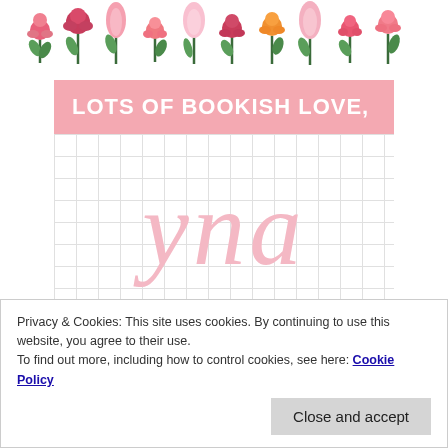[Figure (illustration): Decorative banner with colorful illustrated flowers and tulips on a white background]
LOTS OF BOOKISH LOVE,
[Figure (illustration): Cursive script text 'yna' in light pink on a grid background]
♡ Yna the Mood Reader ♡
Privacy & Cookies: This site uses cookies. By continuing to use this website, you agree to their use.
To find out more, including how to control cookies, see here: Cookie Policy
Close and accept